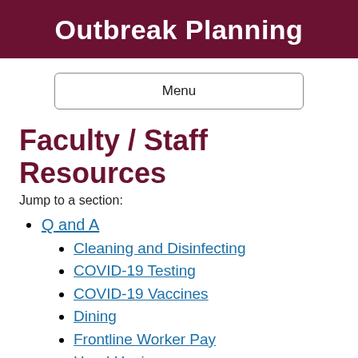Outbreak Planning
[Figure (other): Menu navigation button with rounded border]
Faculty / Staff Resources
Jump to a section:
Q and A
Cleaning and Disinfecting
COVID-19 Testing
COVID-19 Vaccines
Dining
Frontline Worker Pay
Hand Hygiene
Helpline